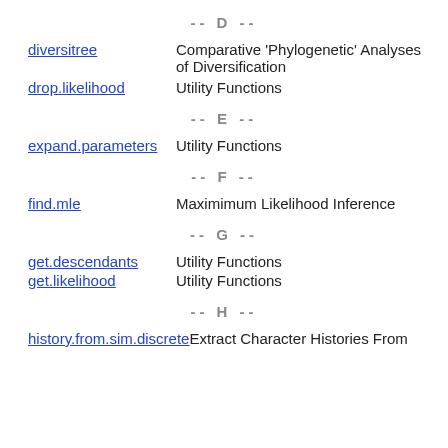-- D --
diversitree   Comparative 'Phylogenetic' Analyses of Diversification
drop.likelihood   Utility Functions
-- E --
expand.parameters   Utility Functions
-- F --
find.mle   Maximimum Likelihood Inference
-- G --
get.descendants   Utility Functions
get.likelihood   Utility Functions
-- H --
history.from.sim.discrete   Extract Character Histories From